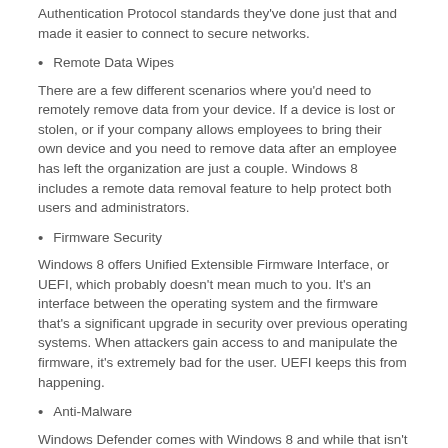Authentication Protocol standards they've done just that and made it easier to connect to secure networks.
Remote Data Wipes
There are a few different scenarios where you'd need to remotely remove data from your device. If a device is lost or stolen, or if your company allows employees to bring their own device and you need to remove data after an employee has left the organization are just a couple. Windows 8 includes a remote data removal feature to help protect both users and administrators.
Firmware Security
Windows 8 offers Unified Extensible Firmware Interface, or UEFI, which probably doesn't mean much to you. It's an interface between the operating system and the firmware that's a significant upgrade in security over previous operating systems. When attackers gain access to and manipulate the firmware, it's extremely bad for the user. UEFI keeps this from happening.
Anti-Malware
Windows Defender comes with Windows 8 and while that isn't a new feature, it does have enhanced performance and decreased memory usage. While Defender and other features of Microsoft